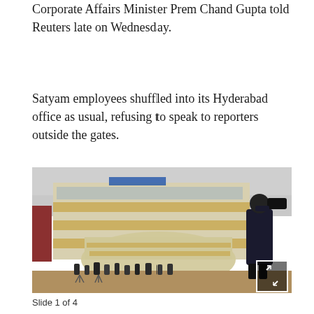Corporate Affairs Minister Prem Chand Gupta told Reuters late on Wednesday.
Satyam employees shuffled into its Hyderabad office as usual, refusing to speak to reporters outside the gates.
[Figure (photo): A cameraman filming the Satyam office building in Hyderabad. The modern multi-storey building has curved glass and horizontal striped facade. A crowd of reporters and media personnel are gathered outside the gates at street level.]
Slide 1 of 4